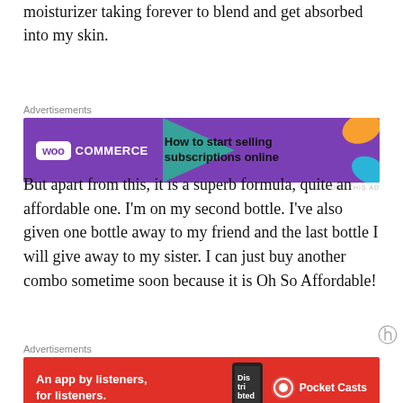moisturizer taking forever to blend and get absorbed into my skin.
[Figure (screenshot): WooCommerce advertisement banner: purple background with WooCommerce logo and text 'How to start selling subscriptions online']
But apart from this, it is a superb formula, quite an affordable one. I'm on my second bottle. I've also given one bottle away to my friend and the last bottle I will give away to my sister. I can just buy another combo sometime soon because it is Oh So Affordable!
[Figure (screenshot): Pocket Casts advertisement banner: red background with text 'An app by listeners, for listeners.' and Pocket Casts logo]